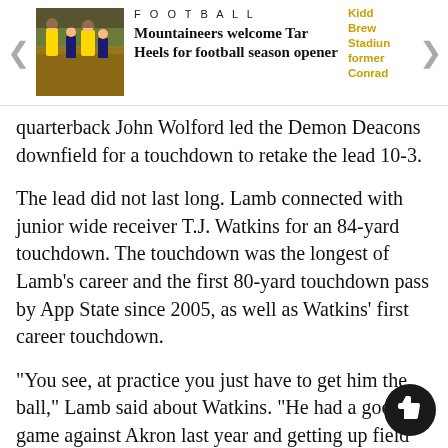FOOTBALL
Mountaineers welcome Tar Heels for football season opener
quarterback John Wolford led the Demon Deacons downfield for a touchdown to retake the lead 10-3.
The lead did not last long. Lamb connected with junior wide receiver T.J. Watkins for an 84-yard touchdown. The touchdown was the longest of Lamb’s career and the first 80-yard touchdown pass by App State since 2005, as well as Watkins’ first career touchdown.
“You see, at practice you just have to get him the ball,” Lamb said about Watkins. “He had a good game against Akron last year and getting up field and that’s the type of player he is. He is explosive and you saw on that long play.”